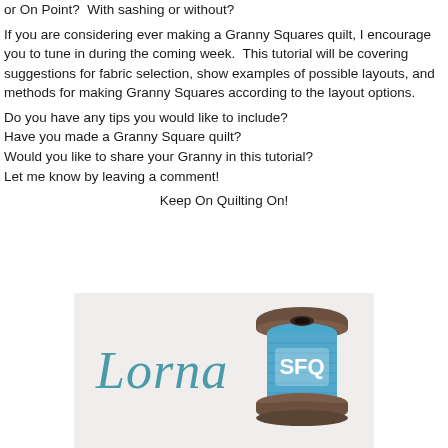or On Point?  With sashing or without?
If you are considering ever making a Granny Squares quilt, I encourage you to tune in during the coming week.  This tutorial will be covering suggestions for fabric selection, show examples of possible layouts, and methods for making Granny Squares according to the layout options.
Do you have any tips you would like to include?
Have you made a Granny Square quilt?
Would you like to share your Granny in this tutorial?
Let me know by leaving a comment!
Keep On Quilting On!
[Figure (illustration): Signature image with cursive 'Lorna' text in teal/blue on left side and a blue thread spool with 'SFQ' label on right side, on a light beige background.]